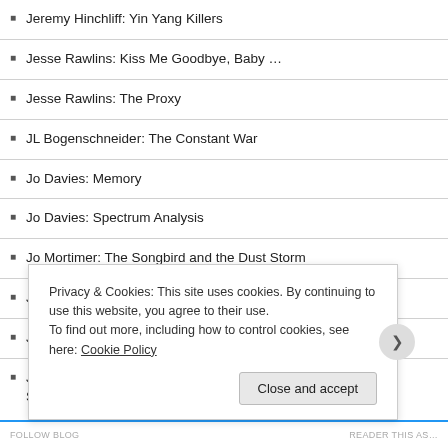Jeremy Hinchliff: Yin Yang Killers
Jesse Rawlins: Kiss Me Goodbye, Baby …
Jesse Rawlins: The Proxy
JL Bogenschneider: The Constant War
Jo Davies: Memory
Jo Davies: Spectrum Analysis
Jo Mortimer: The Songbird and the Dust Storm
Jo Mortimer: The Songbird and the Dust Storm
Jo Withers: Five Little Ducks
Jo Withers: Quantum Physics Allows for Particles to Be in Two States at the Same Time
Privacy & Cookies: This site uses cookies. By continuing to use this website, you agree to their use.
To find out more, including how to control cookies, see here: Cookie Policy
Close and accept